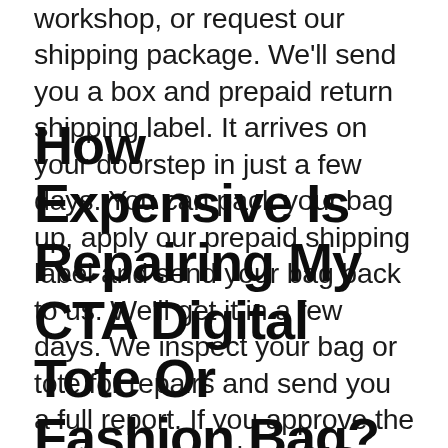workshop, or request our shipping package. We'll send you a box and prepaid return shipping label. It arrives on your doorstep in just a few days. You can pack your bag up, apply our prepaid shipping label and send your bag back to us. We'll get it in a few days. We inspect your bag or tote for repairs and send you a full report. If you approve the costs, we get going ASAP. Once It's finished, we send your bag straight back to your house.
How Expensive Is Repairing My CTA Digital Tote Or Fashion Bag?